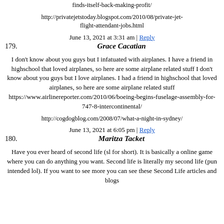finds-itself-back-making-profit/
http://privatejetstoday.blogspot.com/2010/08/private-jet-flight-attendant-jobs.html
June 13, 2021 at 3:31 am | Reply
179. Grace Cacatian
I don't know about you guys but I infatuated with airplanes. I have a friend in highschool that loved airplanes, so here are some airplane related stuff I don't know about you guys but I love airplanes. I had a friend in highschool that loved airplanes, so here are some airplane related stuff https://www.airlinereporter.com/2010/06/boeing-begins-fuselage-assembly-for-747-8-intercontinental/
http://cogdogblog.com/2008/07/what-a-night-in-sydney/
June 13, 2021 at 6:05 pm | Reply
180. Maritza Tacket
Have you ever heard of second life (sl for short). It is basically a online game where you can do anything you want. Second life is literally my second life (pun intended lol). If you want to see more you can see these Second Life articles and blogs